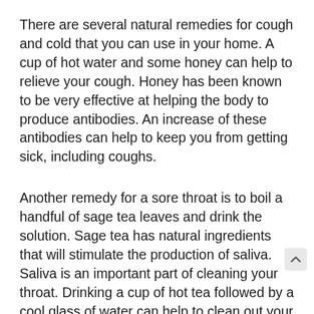There are several natural remedies for cough and cold that you can use in your home. A cup of hot water and some honey can help to relieve your cough. Honey has been known to be very effective at helping the body to produce antibodies. An increase of these antibodies can help to keep you from getting sick, including coughs.
Another remedy for a sore throat is to boil a handful of sage tea leaves and drink the solution. Sage tea has natural ingredients that will stimulate the production of saliva. Saliva is an important part of cleaning your throat. Drinking a cup of hot tea followed by a cool glass of water can help to clean out your throat and reduce the symptoms of a sore throat.
You can also make a good cough syrup. All you have to do is add two tablespoons of molasses to a glass of